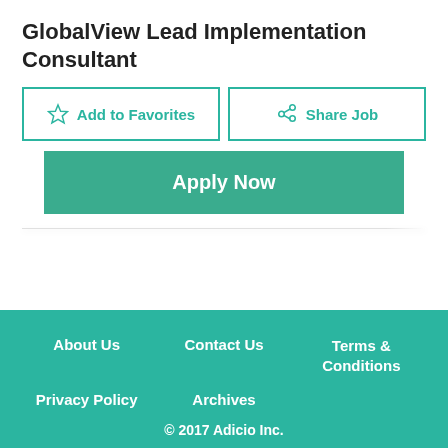GlobalView Lead Implementation Consultant
Add to Favorites
Share Job
Apply Now
About Us  Contact Us  Terms & Conditions  Privacy Policy  Archives  © 2017 Adicio Inc.